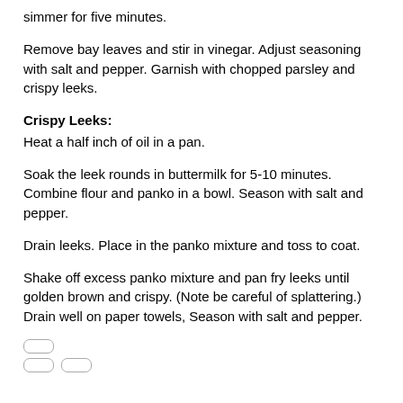simmer for five minutes.
Remove bay leaves and stir in vinegar. Adjust seasoning with salt and pepper. Garnish with chopped parsley and crispy leeks.
Crispy Leeks:
Heat a half inch of oil in a pan.
Soak the leek rounds in buttermilk for 5-10 minutes. Combine flour and panko in a bowl. Season with salt and pepper.
Drain leeks. Place in the panko mixture and toss to coat.
Shake off excess panko mixture and pan fry leeks until golden brown and crispy. (Note be careful of splattering.) Drain well on paper towels, Season with salt and pepper.
[Figure (other): Navigation UI elements: one pill/capsule icon on top row, two pill/capsule icons on bottom row]